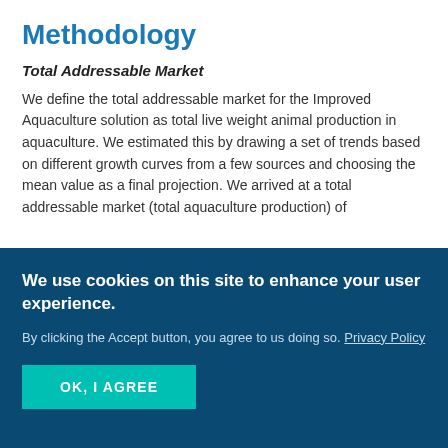Methodology
Total Addressable Market
We define the total addressable market for the Improved Aquaculture solution as total live weight animal production in aquaculture. We estimated this by drawing a set of trends based on different growth curves from a few sources and choosing the mean value as a final projection. We arrived at a total addressable market (total aquaculture production) of
We use cookies on this site to enhance your user experience.
By clicking the Accept button, you agree to us doing so. Privacy Policy
OK, I AGREE